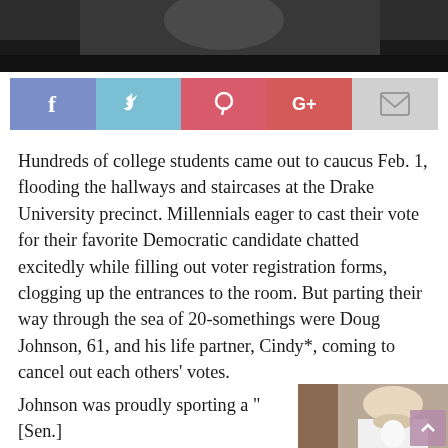[Figure (photo): Top portion of a photograph, dark toned, showing upper part of a person]
[Figure (infographic): Social sharing bar with Facebook (blue), Twitter (light blue), Pinterest (red), Google+ (red), and Email (gray) buttons]
Hundreds of college students came out to caucus Feb. 1, flooding the hallways and staircases at the Drake University precinct. Millennials eager to cast their vote for their favorite Democratic candidate chatted excitedly while filling out voter registration forms, clogging up the entrances to the room. But parting their way through the sea of 20-somethings were Doug Johnson, 61, and his life partner, Cindy*, coming to cancel out each others' votes.
Johnson was proudly sporting a "[Sen.]
[Figure (photo): Photo of an older man with a long white beard wearing a white shirt, seated, with a brick wall in the background]